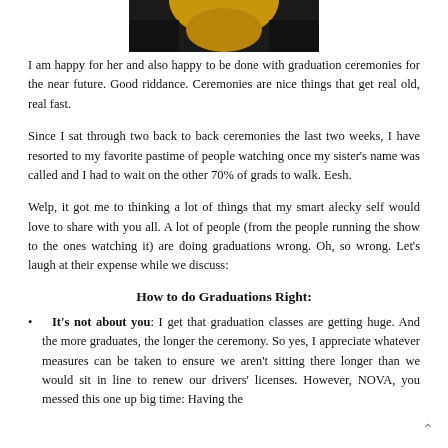[Figure (photo): Partial photo of a graduation ceremony, showing dark robes and gold/yellow graduation regalia at the top of the page.]
I am happy for her and also happy to be done with graduation ceremonies for the near future. Good riddance. Ceremonies are nice things that get real old, real fast.
Since I sat through two back to back ceremonies the last two weeks, I have resorted to my favorite pastime of people watching once my sister's name was called and I had to wait on the other 70% of grads to walk. Eesh.
Welp, it got me to thinking a lot of things that my smart alecky self would love to share with you all. A lot of people (from the people running the show to the ones watching it) are doing graduations wrong. Oh, so wrong. Let's laugh at their expense while we discuss:
How to do Graduations Right:
It's not about you: I get that graduation classes are getting huge. And the more graduates, the longer the ceremony. So yes, I appreciate whatever measures can be taken to ensure we aren't sitting there longer than we would sit in line to renew our drivers' licenses. However, NOVA, you messed this one up big time: Having the